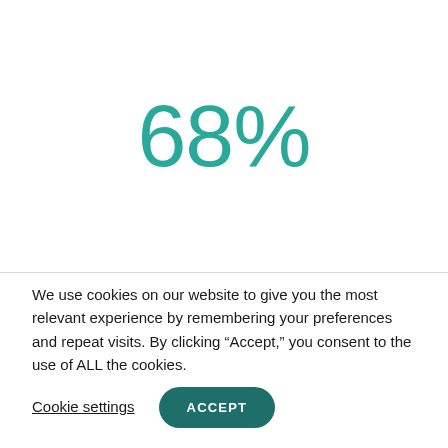68%
We use cookies on our website to give you the most relevant experience by remembering your preferences and repeat visits. By clicking “Accept,” you consent to the use of ALL the cookies.
Cookie settings
ACCEPT